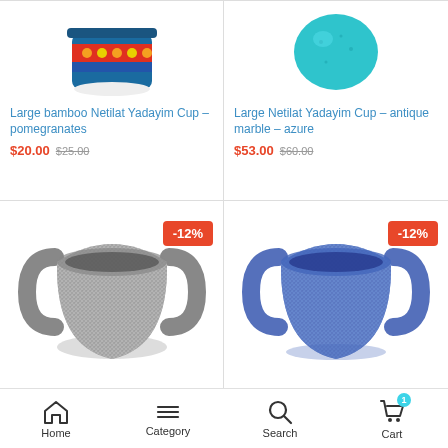[Figure (photo): Large bamboo Netilat Yadayim Cup with pomegranate design, colorful ceramic top portion visible]
Large bamboo Netilat Yadayim Cup – pomegranates
$20.00 $25.00
[Figure (photo): Large Netilat Yadayim Cup antique marble azure, teal/turquoise sphere-shaped top portion visible]
Large Netilat Yadayim Cup – antique marble – azure
$53.00 $60.00
[Figure (photo): Netilat Yadayim washing cup with two handles, grey/black speckled marble appearance, with -12% badge]
[Figure (photo): Netilat Yadayim washing cup with two handles, blue speckled marble appearance, with -12% badge]
Home  Category  Search  Cart